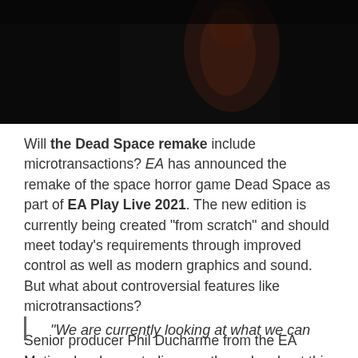[Figure (photo): Dark screenshot from Dead Space remake showing a dimly lit creature or character figure against a black background]
Will the Dead Space remake include microtransactions? EA has announced the remake of the space horror game Dead Space as part of EA Play Live 2021. The new edition is currently being created "from scratch" and should meet today's requirements through improved control as well as modern graphics and sound. But what about controversial features like microtransactions?
Senior producer Phil Ducharme from the EA Motive developer studio recently spoke about this in an interview. In it, he clearly rejected microtransactions:
“We are currently looking at what we can